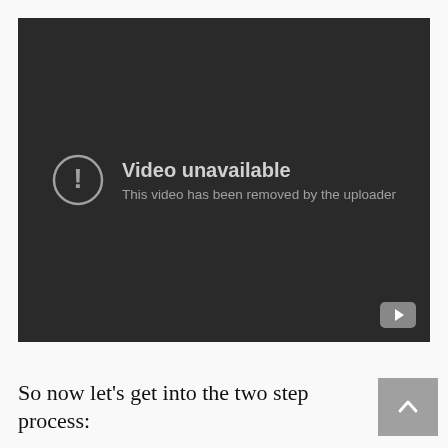[Figure (screenshot): YouTube video player showing 'Video unavailable - This video has been removed by the uploader' error message on a dark background, with a YouTube play button icon in the bottom right corner.]
So now let’s get into the two step process: